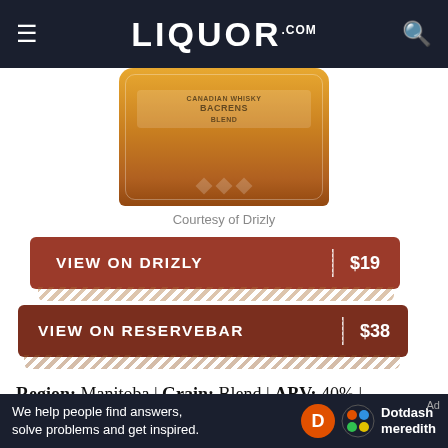LIQUOR.COM
[Figure (photo): Partial view of a Canadian whisky bottle with ornate amber/gold design]
Courtesy of Drizly
VIEW ON DRIZLY $19
VIEW ON RESERVEBAR $38
Region: Manitoba | Grain: Blend | ABV: 40% | Tasting Notes: Oak, sweet vanilla
"There are definitely some good new Canadian
[Figure (logo): Dotdash Meredith advertisement banner]